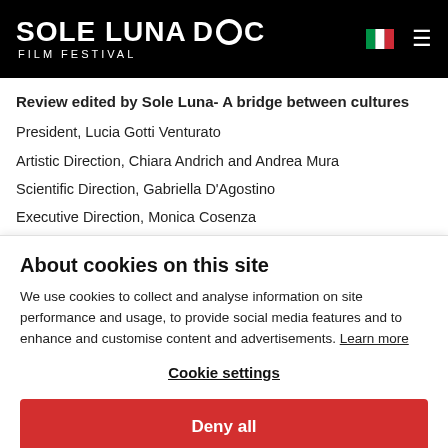SOLE LUNA DOC FILM FESTIVAL
Review edited by Sole Luna- A bridge between cultures
President, Lucia Gotti Venturato
Artistic Direction, Chiara Andrich and Andrea Mura
Scientific Direction, Gabriella D'Agostino
Executive Direction, Monica Cosenza
About cookies on this site
We use cookies to collect and analyse information on site performance and usage, to provide social media features and to enhance and customise content and advertisements. Learn more
Cookie settings
Deny all
Allow all cookies